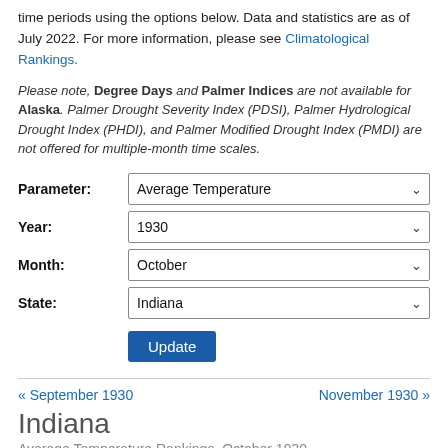time periods using the options below. Data and statistics are as of July 2022. For more information, please see Climatological Rankings.
Please note, Degree Days and Palmer Indices are not available for Alaska. Palmer Drought Severity Index (PDSI), Palmer Hydrological Drought Index (PHDI), and Palmer Modified Drought Index (PMDI) are not offered for multiple-month time scales.
Parameter: Average Temperature
Year: 1930
Month: October
State: Indiana
Update
« September 1930
November 1930 »
Indiana
Average Temperature Rankings, October 1930